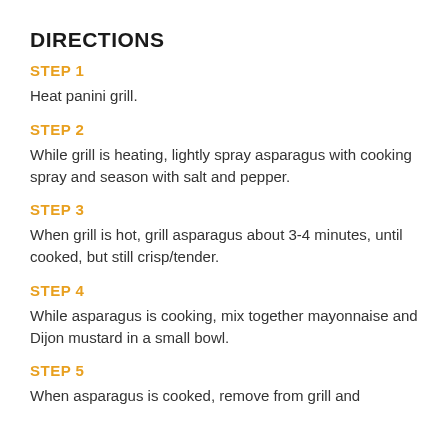DIRECTIONS
STEP 1
Heat panini grill.
STEP 2
While grill is heating, lightly spray asparagus with cooking spray and season with salt and pepper.
STEP 3
When grill is hot, grill asparagus about 3-4 minutes, until cooked, but still crisp/tender.
STEP 4
While asparagus is cooking, mix together mayonnaise and Dijon mustard in a small bowl.
STEP 5
When asparagus is cooked, remove from grill and